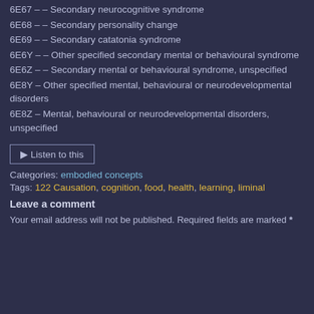6E67 – – Secondary neurocognitive syndrome
6E68 – – Secondary personality change
6E69 – – Secondary catatonia syndrome
6E6Y – – Other specified secondary mental or behavioural syndrome
6E6Z – – Secondary mental or behavioural syndrome, unspecified
6E8Y – Other specified mental, behavioural or neurodevelopmental disorders
6E8Z – Mental, behavioural or neurodevelopmental disorders, unspecified
Listen to this
Categories: embodied concepts
Tags: 122 Causation, cognition, food, health, learning, liminal
Leave a comment
Your email address will not be published. Required fields are marked *